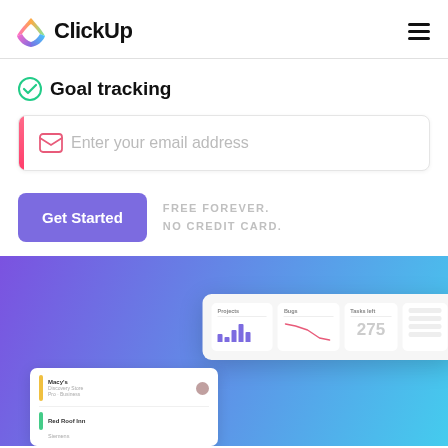ClickUp
Goal tracking
Enter your email address
Get Started
FREE FOREVER. NO CREDIT CARD.
[Figure (screenshot): ClickUp dashboard mockup showing Projects bar chart, Bugs line chart, Tasks left (275), and a project list with Macy's and Red Roof Inn entries]